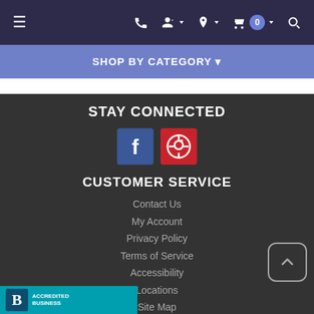Navigation bar with hamburger menu, phone, account, location, cart (0), search icons
SHOP BY CATEGORY ▾
STAY CONNECTED
[Figure (illustration): Facebook and Pinterest social media icon buttons]
CUSTOMER SERVICE
Contact Us
My Account
Privacy Policy
Terms of Service
Accessibility
Locations
Site Map
[Figure (logo): BBB (Better Business Bureau) accredited business logo on teal background]